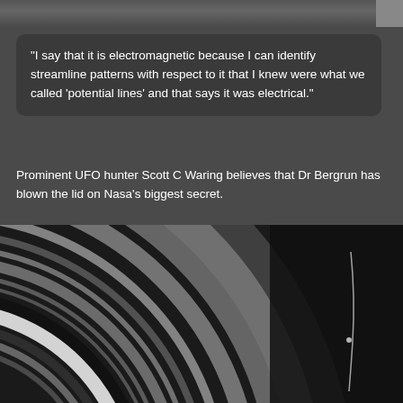[Figure (photo): Partial photo visible at the top of the page, dark/grey tones with a small lighter corner element at top right]
“I say that it is electromagnetic because I can identify streamline patterns with respect to it that I knew were what we called ‘potential lines’ and that says it was electrical.”
Prominent UFO hunter Scott C Waring believes that Dr Bergrun has blown the lid on Nasa’s biggest secret.
[Figure (photo): Close-up black and white image of Saturn's rings showing concentric ring bands on the left side transitioning to black space on the right, with a faint bright streak visible on the right side]